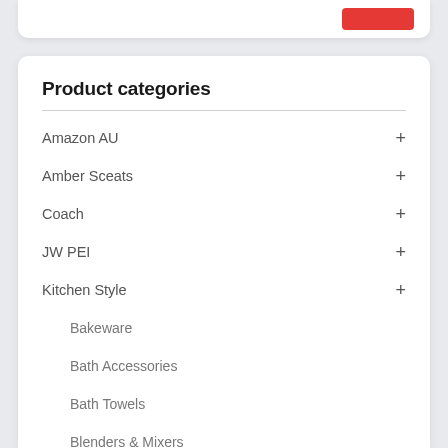Product categories
Amazon AU
Amber Sceats
Coach
JW PEI
Kitchen Style
Bakeware
Bath Accessories
Bath Towels
Blenders & Mixers
Candles And Scents
Casseroloes